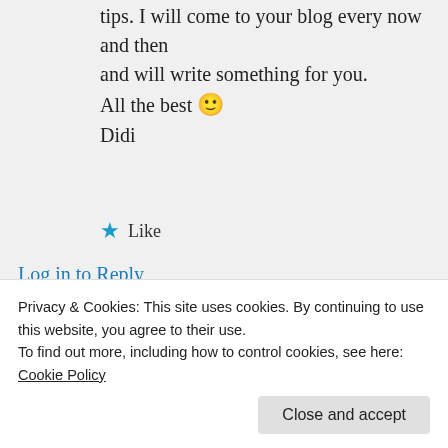tips. I will come to your blog every now and then and will write something for you. All the best 🙂 Didi
★ Like
Log in to Reply
Sakshi Shreya on 04/10/2020 at 16:46
Privacy & Cookies: This site uses cookies. By continuing to use this website, you agree to their use. To find out more, including how to control cookies, see here: Cookie Policy
Close and accept